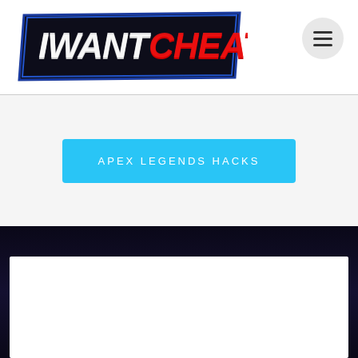[Figure (logo): IWantCheats logo — white italic IWANT text with red italic CHEATS text on a dark blue/black trapezoid background with blue border]
[Figure (other): Hamburger menu button — three horizontal bars inside a light gray circle]
APEX LEGENDS HACKS
[Figure (other): White content card area on dark navy background — bottom portion of page]